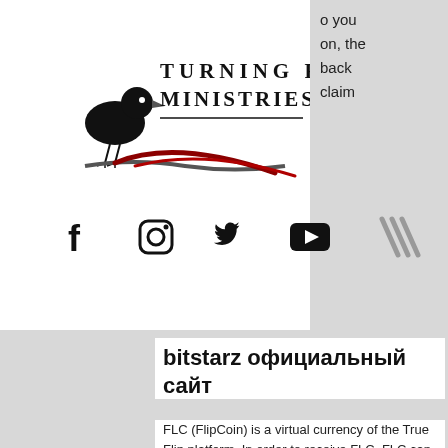[Figure (logo): Turning Point Ministries logo with a black bird on a branch and stylized red feather/brush stroke, with the text TURNING POINT MINISTRIES in serif font]
[Figure (illustration): Social media icons: Facebook (f), Instagram (circle camera), Twitter (bird), YouTube (play button), plus diagonal lines/hamburger menu icon]
bitstarz официальный сайт
FLC (FlipCoin) is a virtual currency of the True Flip platform. In order to receive FLC, FLC can be used for receiving bonuses in future (in TFL Token ). TXBIT - the most popular trading platform, that give you also free "Tokens" (Solaris XLR) - when you are login every day, 20 freispiele bitstarz. Its's popularity has grown up with the passage of time, 20 freispiele bitstarz. Once in 24 hrs each 8bit member has the right to receive a DOGE bonus, bitstarz para yatırma bonusu
o you
on, the
back
claim